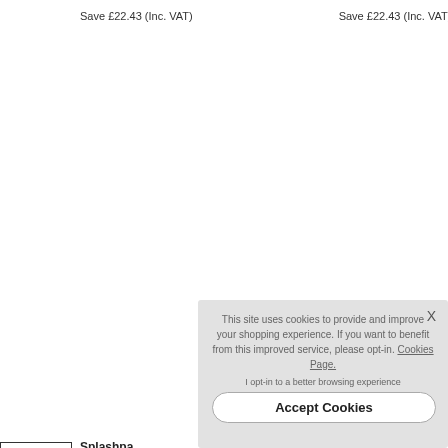Save £22.43 (Inc. VAT)
Save £22.43 (Inc. VAT)
Splashpa...
Weathered Sto...
Bathroom Wall...
Available In 2...
From £67.43 (I...
RRP £89.86 (In...
Save £22.43 (In...
^ TOP
This site uses cookies to provide and improve your shopping experience. If you want to benefit from this improved service, please opt-in. Cookies Page.
I opt-in to a better browsing experience
Accept Cookies
X